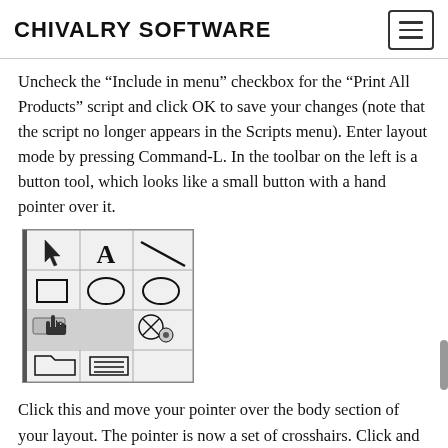CHIVALRY SOFTWARE
Uncheck the “Include in menu” checkbox for the “Print All Products” script and click OK to save your changes (note that the script no longer appears in the Scripts menu). Enter layout mode by pressing Command-L. In the toolbar on the left is a button tool, which looks like a small button with a hand pointer over it.
[Figure (screenshot): A toolbar panel showing layout tools: cursor/arrow, text (A), line tools in top row; rectangle, oval, circle in second row; button tool (hand pointer over button icon highlighted), and another tool in third row; folder and another icon in bottom row.]
Click this and move your pointer over the body section of your layout. The pointer is now a set of crosshairs. Click and drag to draw a button on the layout. The Button Setup window will appear. You can assign any individual script step to a button, but the only one I ever use is Perform Script. Select this script step and click “Specify” to select the “Print All Products”